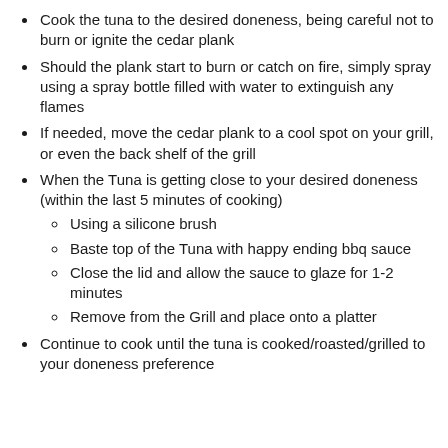Cook the tuna to the desired doneness, being careful not to burn or ignite the cedar plank
Should the plank start to burn or catch on fire, simply spray using a spray bottle filled with water to extinguish any flames
If needed, move the cedar plank to a cool spot on your grill, or even the back shelf of the grill
When the Tuna is getting close to your desired doneness (within the last 5 minutes of cooking)
Using a silicone brush
Baste top of the Tuna with happy ending bbq sauce
Close the lid and allow the sauce to glaze for 1-2 minutes
Remove from the Grill and place onto a platter
Continue to cook until the tuna is cooked/roasted/grilled to your doneness preference